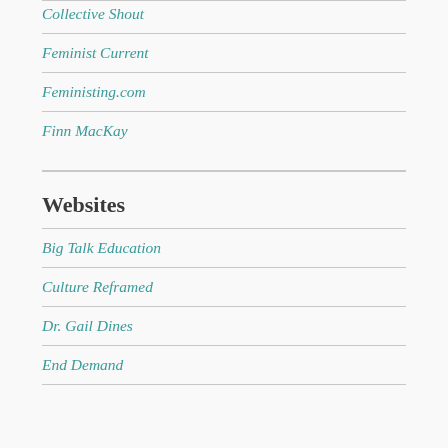Collective Shout
Feminist Current
Feministing.com
Finn MacKay
Websites
Big Talk Education
Culture Reframed
Dr. Gail Dines
End Demand